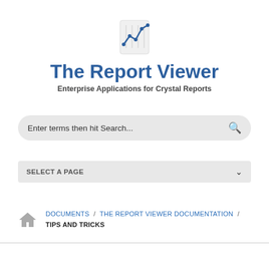[Figure (logo): The Report Viewer app icon: a small chart/graph icon on a document background with a line-chart overlay in blue]
The Report Viewer
Enterprise Applications for Crystal Reports
Enter terms then hit Search...
SELECT A PAGE
DOCUMENTS / THE REPORT VIEWER DOCUMENTATION / TIPS AND TRICKS